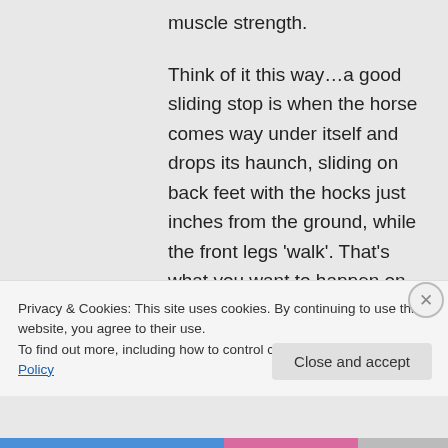muscle strength.
Think of it this way…a good sliding stop is when the horse comes way under itself and drops its haunch, sliding on back feet with the hocks just inches from the ground, while the front legs 'walk'. That's what you want to happen on downgrades…
Privacy & Cookies: This site uses cookies. By continuing to use this website, you agree to their use.
To find out more, including how to control cookies, see here: Cookie Policy
Close and accept